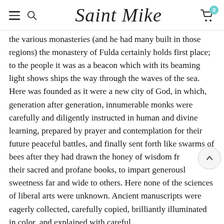Saint Mike — navigation header with hamburger menu, search icon, logo, and cart (0 items)
the various monasteries (and he had many built in those regions) the monastery of Fulda certainly holds first place; to the people it was as a beacon which with its beaming light shows ships the way through the waves of the sea. Here was founded as it were a new city of God, in which, generation after generation, innumerable monks were carefully and diligently instructed in human and divine learning, prepared by prayer and contemplation for their future peaceful battles, and finally sent forth like swarms of bees after they had drawn the honey of wisdom from their sacred and profane books, to impart generously sweetness far and wide to others. Here none of the sciences of liberal arts were unknown. Ancient manuscripts were eagerly collected, carefully copied, brilliantly illuminated in color, and explained with careful